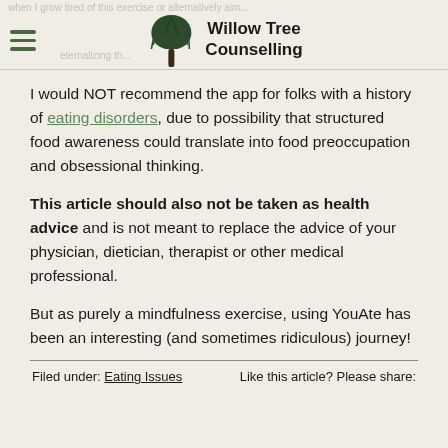Willow Tree Counselling
I would NOT recommend the app for folks with a history of eating disorders, due to possibility that structured food awareness could translate into food preoccupation and obsessional thinking.
This article should also not be taken as health advice and is not meant to replace the advice of your physician, dietician, therapist or other medical professional.
But as purely a mindfulness exercise, using YouAte has been an interesting (and sometimes ridiculous) journey!
Filed under: Eating Issues    Like this article? Please share: